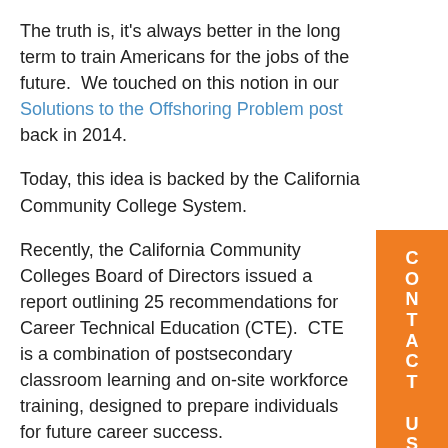The truth is, it's always better in the long term to train Americans for the jobs of the future.  We touched on this notion in our Solutions to the Offshoring Problem post back in 2014.
Today, this idea is backed by the California Community College System.
Recently, the California Community Colleges Board of Directors issued a report outlining 25 recommendations for Career Technical Education (CTE).  CTE is a combination of postsecondary classroom learning and on-site workforce training, designed to prepare individuals for future career success.
You'll find their report here: Report & Recommendations: Task Force on Workforce Job Creation and a Strong Economy